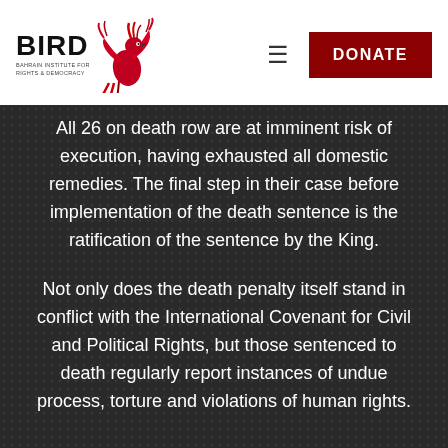[Figure (logo): BIRD - Bahrain Institute for Rights and Democracy logo with red phoenix bird graphic]
All 26 on death row are at imminent risk of execution, having exhausted all domestic remedies. The final step in their case before implementation of the death sentence is the ratification of the sentence by the King.
Not only does the death penalty itself stand in conflict with the International Covenant for Civil and Political Rights, but those sentenced to death regularly report instances of undue process, torture and violations of human rights.